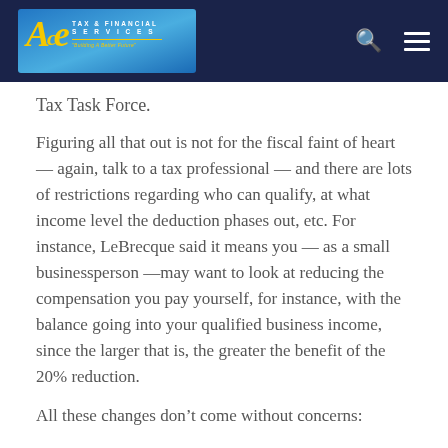ACE Tax & Financial Services — Tax Task Force
Tax Task Force.
Figuring all that out is not for the fiscal faint of heart — again, talk to a tax professional — and there are lots of restrictions regarding who can qualify, at what income level the deduction phases out, etc. For instance, LeBrecque said it means you — as a small businessperson —may want to look at reducing the compensation you pay yourself, for instance, with the balance going into your qualified business income, since the larger that is, the greater the benefit of the 20% reduction.
All these changes don't come without concerns: